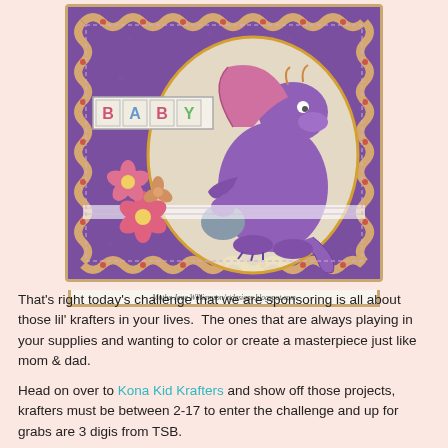[Figure (photo): A handmade baby card featuring a purple dragon with pink wings holding an egg, surrounded by pink flowers, with baby alphabet blocks spelling BABY, on a purple patterned background with a scalloped cream/gold frame border.]
Motha Jane Williamson/etdesigns.blogspot.com
That's right today's challenge that we are sponsoring is all about those lil' krafters in your lives.  The ones that are always playing in your supplies and wanting to color or create a masterpiece just like mom & dad.
Head on over to Kona Kid Krafters and show off those projects, krafters must be between 2-17 to enter the challenge and up for grabs are 3 digis from TSB.